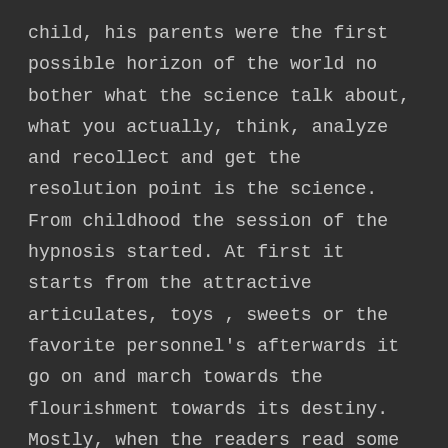child, his parents were the first possible horizon of the world no bother what the science talk about, what you actually, think, analyze and recollect and get the resolution point is the science. From childhood the session of the hypnosis started. At first it starts from the attractive articulates, toys , sweets or the favorite personnel's afterwards it go on and march towards the flourishment towards its destiny. Mostly, when the readers read some article, the mindset has been molded by the group of people the thing which seems to be hard and